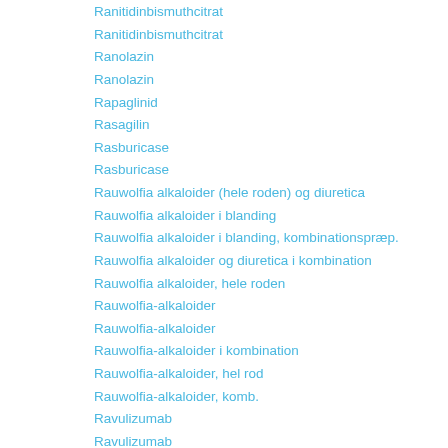Ranitidinbismuthcitrat
Ranitidinbismuthcitrat
Ranolazin
Ranolazin
Rapaglinid
Rasagilin
Rasburicase
Rasburicase
Rauwolfia alkaloider (hele roden) og diuretica
Rauwolfia alkaloider i blanding
Rauwolfia alkaloider i blanding, kombinationspræp.
Rauwolfia alkaloider og diuretica i kombination
Rauwolfia alkaloider, hele roden
Rauwolfia-alkaloider
Rauwolfia-alkaloider
Rauwolfia-alkaloider i kombination
Rauwolfia-alkaloider, hel rod
Rauwolfia-alkaloider, komb.
Ravulizumab
Ravulizumab
Raxibacumab
Rebamipid
Rebamipid
Reboxetin